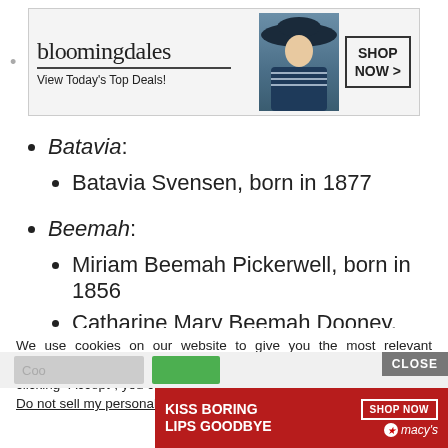[Figure (other): Bloomingdale's advertisement banner with model wearing hat, 'View Today's Top Deals!' text and 'SHOP NOW >' button]
Batavia:
Batavia Svensen, born in 1877
Beemah:
Miriam Beemah Pickerwell, born in 1856
Catharine Mary Beemah Dooney, born in 1879
We use cookies on our website to give you the most relevant experience by remembering your preferences and repeat visits. By clicking “Accept”, you consent to the use of ALL the cookies.
Do not sell my personal information.
[Figure (other): Macy's advertisement banner 'KISS BORING LIPS GOODBYE' with SHOP NOW button and Macy's star logo]